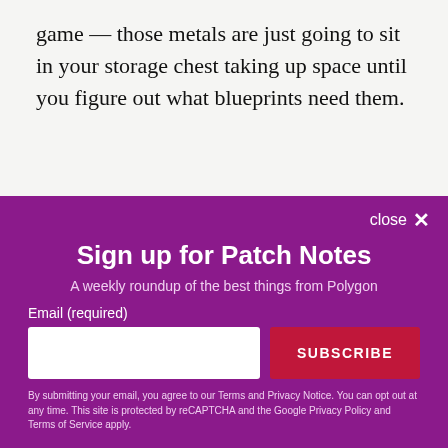game — those metals are just going to sit in your storage chest taking up space until you figure out what blueprints need them.
[Figure (screenshot): PlayStation Store screenshot showing 'LET IT DIE' game listing with dark blue/purple gradient background]
close ✕
Sign up for Patch Notes
A weekly roundup of the best things from Polygon
Email (required)
SUBSCRIBE
By submitting your email, you agree to our Terms and Privacy Notice. You can opt out at any time. This site is protected by reCAPTCHA and the Google Privacy Policy and Terms of Service apply.